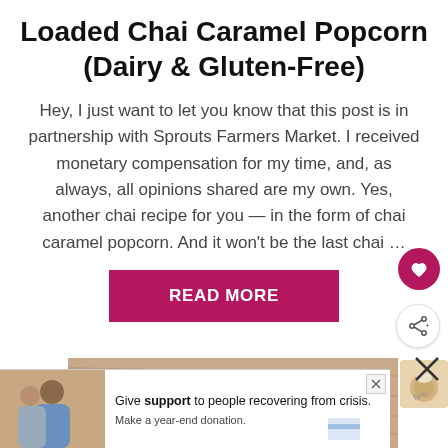Loaded Chai Caramel Popcorn (Dairy & Gluten-Free)
Hey, I just want to let you know that this post is in partnership with Sprouts Farmers Market. I received monetary compensation for my time, and, as always, all opinions shared are my own. Yes, another chai recipe for you — in the form of chai caramel popcorn. And it won't be the last chai …
READ MORE
[Figure (photo): Photo of food on a wooden board with utensils and a white plate, partially visible]
[Figure (photo): Advertisement banner: person and text 'Give support to people recovering from crisis. Make a year-end donation.']
[Figure (photo): Small thumbnail of a food item in a bowl on the right side]